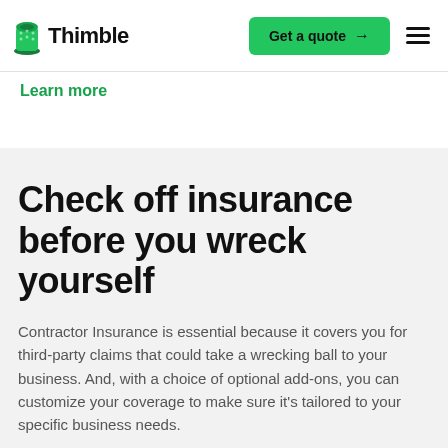Thimble | Get a quote
Learn more
Check off insurance before you wreck yourself
Contractor Insurance is essential because it covers you for third-party claims that could take a wrecking ball to your business. And, with a choice of optional add-ons, you can customize your coverage to make sure it's tailored to your specific business needs.